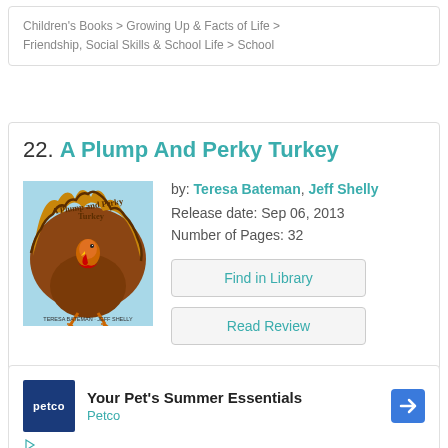Children's Books > Growing Up & Facts of Life > Friendship, Social Skills & School Life > School
22. A Plump And Perky Turkey
[Figure (illustration): Book cover for 'A Plump and Perky Turkey' showing a turkey with brown feathers spread out in a fan shape against a light blue background, with the title text in an arc above the turkey.]
by: Teresa Bateman,  Jeff Shelly
Release date: Sep 06, 2013
Number of Pages: 32
Find in Library
Read Review
[Figure (other): Petco advertisement banner saying 'Your Pet's Summer Essentials' with Petco logo and directional arrow icon]